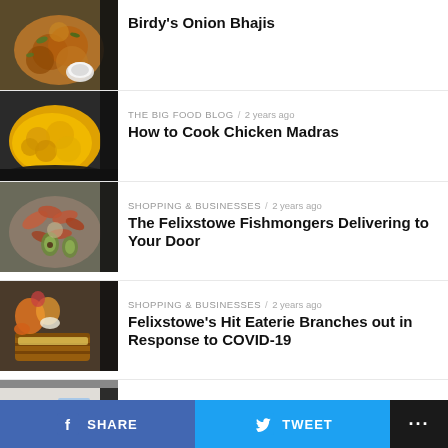[Figure (photo): Food photo: Birdy's onion bhajis dish from above]
Birdy's Onion Bhajis
[Figure (photo): Food photo: yellow chicken Madras curry in a pan]
THE BIG FOOD BLOG / 2 years ago
How to Cook Chicken Madras
[Figure (photo): Food photo: Felixstowe fishmongers seafood display]
SHOPPING & BUSINESSES / 2 years ago
The Felixstowe Fishmongers Delivering to Your Door
[Figure (photo): Food photo: eaterie brunch plate with grilled items]
SHOPPING & BUSINESSES / 2 years ago
Felixstowe's Hit Eaterie Branches out in Response to COVID-19
[Figure (photo): Photo: Radio DJ Rob Dunger in studio]
COPING WITH LOCKDOWN / 2 years ago
Radio DJ, Rob Dunger
SHARE   TWEET